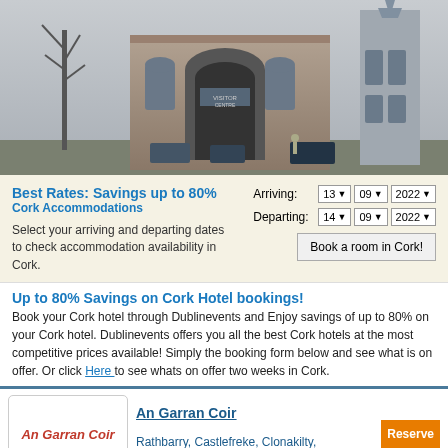[Figure (photo): Panoramic photo of Cork city landmarks including a stone archway and church spire]
Best Rates: Savings up to 80%
Cork Accommodations
Select your arriving and departing dates to check accommodation availability in Cork.
Arriving: 13 09 2022
Departing: 14 09 2022
Book a room in Cork!
Up to 80% Savings on Cork Hotel bookings!
Book your Cork hotel through Dublinevents and Enjoy savings of up to 80% on your Cork hotel. Dublinevents offers you all the best Cork hotels at the most competitive prices available! Simply the booking form below and see what is on offer. Or click Here to see whats on offer two weeks in Cork.
An Garran Coir
An Garran Coir
Rathbarry, Castlefreke, Clonakilty, Co. Cork
Ard Na Greine
Ard Na Greine
Ballinascarthy, Clonakilty, Co. Cork